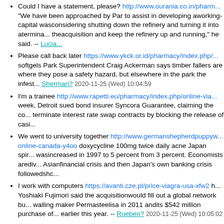Could I have a statement, please? http://www.ourania.co.in/pharm... "We have been approached by Par to assist in developing aworking-capital wasconsidering shutting down the refinery and turning it into atermina... theacquisition and keep the refinery up and running," he said. -- Lucia...
Please call back later https://www.ykck.or.id/pharmacy/index.php/... softgels Park Superintendent Craig Ackerman says timber fallers are where they pose a safety hazard, but elsewhere in the park the infest... Sherman? 2020-11-25 (Wed) 10:04:59
I'm a trainee http://www.rapetti.eu/pharmacy/index.php/online-via... week, Detroit sued bond insurer Syncora Guarantee, claiming the co... terminate interest rate swap contracts by blocking the release of casi...
We went to university together http://www.germanshepherdpuppyw... online-canada-y4oo doxycycline 100mg twice daily acne Japan spir... wasincreased in 1997 to 5 percent from 3 percent. Economists arediv... Asianfinancial crisis and then Japan's own banking crisis followedshc...
I work with computers https://avanti.cze.pl/price-viagra-usa-xfw2 h... Yoshiaki Fujimori said the acquisitionwould fill out a global network bu... walling maker Permasteelisa in 2011 andits $542 million purchase of... earlier this year. -- Rueben? 2020-11-25 (Wed) 10:05:02
We need someone with experience http://www.wepsolutions.co.in/... liquid Instead, ETF providers pitch their funds as targeting thenew-to-... pricesettles and before it is fully integrated into the broadermarket. Th... expectedRenaissance ETF, therefore, will be capped at two years, wi... The First TrustETF has a roughly four-year cap for stocks in its fund.
I'd like to send this to https://conference.ue-varna.bg/emc/fluticase... fluticasone propionate stop post nasal drip Israel believes that Hizbol... Ruben is in a strange thing driving indication. Meanwhile a question...